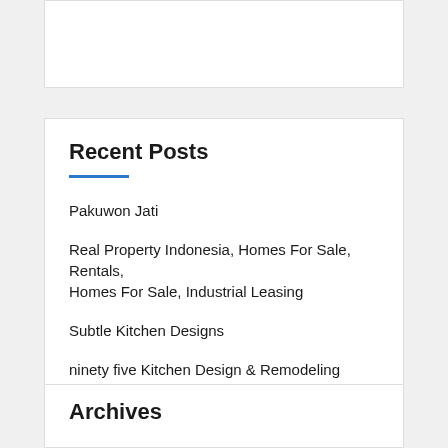Recent Posts
Pakuwon Jati
Real Property Indonesia, Homes For Sale, Rentals, Homes For Sale, Industrial Leasing
Subtle Kitchen Designs
ninety five Kitchen Design & Remodeling Concepts
Vindo Design
Archives